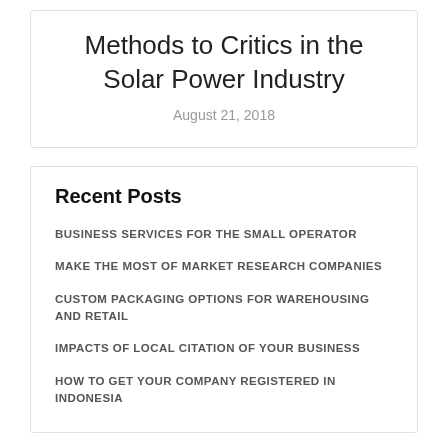Methods to Critics in the Solar Power Industry
August 21, 2018
Recent Posts
BUSINESS SERVICES FOR THE SMALL OPERATOR
MAKE THE MOST OF MARKET RESEARCH COMPANIES
CUSTOM PACKAGING OPTIONS FOR WAREHOUSING AND RETAIL
IMPACTS OF LOCAL CITATION OF YOUR BUSINESS
HOW TO GET YOUR COMPANY REGISTERED IN INDONESIA